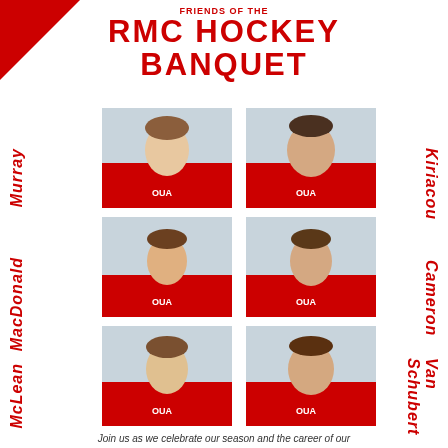RMC HOCKEY BANQUET
[Figure (photo): Six hockey player headshots arranged in a 2x3 grid. Players wearing red OUA jerseys. Left column names (top to bottom): Murray, MacDonald, McLean. Right column names (top to bottom): Kiriacou, Cameron, Van Schubert.]
Join us as we celebrate our season and the career of our